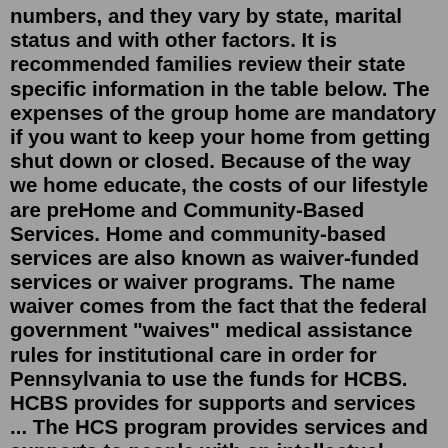numbers, and they vary by state, marital status and with other factors. It is recommended families review their state specific information in the table below. The expenses of the group home are mandatory if you want to keep your home from getting shut down or closed. Because of the way we home educate, the costs of our lifestyle are preHome and Community-Based Services. Home and community-based services are also known as waiver-funded services or waiver programs. The name waiver comes from the fact that the federal government "waives" medical assistance rules for institutional care in order for Pennsylvania to use the funds for HCBS. HCBS provides for supports and services ... The HCS program provides services and supports to people with an intellectual disability (ID) or a related condition who live with their families, in their own homes, or in small group homes with no more than 4 beds. A related condition is a disability, other than an ID or mental illness, that begins before age 22 and will not likely end. The Federal Family First Prevention Services Act of 2018